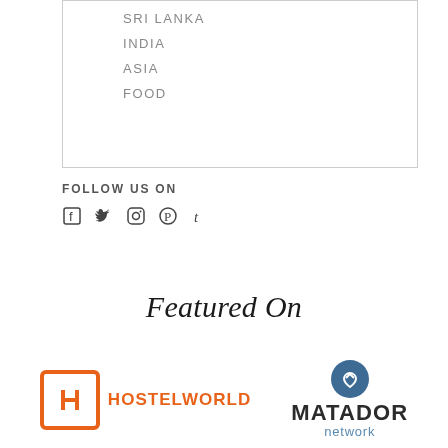SRI LANKA
INDIA
ASIA
FOOD
FOLLOW US ON
[Figure (other): Social media icons: Facebook, Twitter, Instagram, Pinterest, Tumblr]
Featured On
[Figure (logo): Hostelworld logo - orange H icon with HOSTELWORLD text]
[Figure (logo): Matador Network logo - blue circle with M heart icon and MATADOR network text]